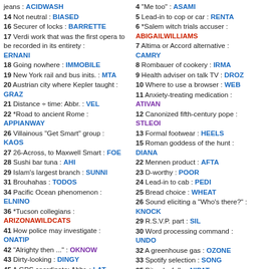jeans : ACIDWASH
14 Not neutral : BIASED
16 Securer of locks : BARRETTE
17 Verdi work that was the first opera to be recorded in its entirety : ERNANI
18 Going nowhere : IMMOBILE
19 New York rail and bus inits. : MTA
20 Austrian city where Kepler taught : GRAZ
21 Distance ÷ time: Abbr. : VEL
22 *Road to ancient Rome : APPIANWAY
26 Villainous "Get Smart" group : KAOS
27 26-Across, to Maxwell Smart : FOE
28 Sushi bar tuna : AHI
29 Islam's largest branch : SUNNI
31 Brouhahas : TODOS
34 Pacific Ocean phenomenon : ELNINO
36 *Tucson collegians : ARIZONAWILDCATS
41 How police may investigate : ONATIP
42 "Alrighty then ..." : OKNOW
43 Dirty-looking : DINGY
45 A GPS coordinate: Abbr. : LAT
47 Turf ___ (football ailment) : TOE
48 "Me too" : SAME
49 *Holy Communion drink : ALTARWINE
4 "Me too" : ASAMI
5 Lead-in to cop or car : RENTA
6 *Salem witch trials accuser : ABIGAILWILLIAMS
7 Altima or Accord alternative : CAMRY
8 Rombauer of cookery : IRMA
9 Health adviser on talk TV : DROZ
10 Where to use a browser : WEB
11 Anxiety-treating medication : ATIVAN
12 Canonized fifth-century pope : STLEOI
13 Formal footwear : HEELS
15 Roman goddess of the hunt : DIANA
22 Mennen product : AFTA
23 D-worthy : POOR
24 Lead-in to cab : PEDI
25 Bread choice : WHEAT
26 Sound eliciting a "Who's there?" : KNOCK
29 R.S.V.P. part : SIL
30 Word processing command : UNDO
32 A greenhouse gas : OZONE
33 Spotify selection : SONG
35 Bite playfully : NIPAT
37 Roll-call call : NAY
38 37-Down caller : ANTI
39 Animator's creation : TOON
40 'Pea : SWEE